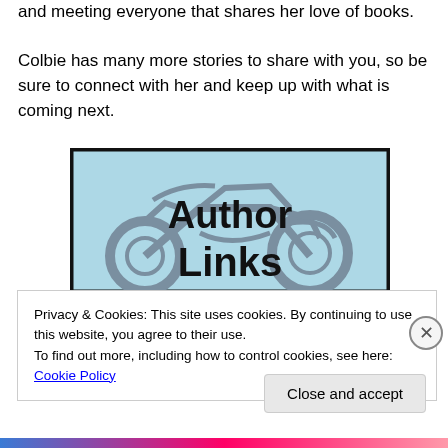and meeting everyone that shares her love of books.

Colbie has many more stories to share with you, so be sure to connect with her and keep up with what is coming next.
[Figure (illustration): A rectangular banner image with a light blue background and a gray silhouette of a motorcycle. The text 'Author Links' is displayed in large bold black text over the image, with a thick dark border around the rectangle.]
Privacy & Cookies: This site uses cookies. By continuing to use this website, you agree to their use.
To find out more, including how to control cookies, see here: Cookie Policy
Close and accept